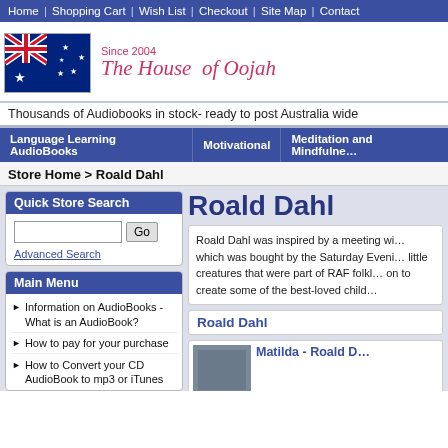Home | Shopping Cart | Wish List | Checkout | Site Map | Contact
[Figure (logo): Australian flag and House of Oojah logo with 'Since 2004' tagline]
Thousands of Audiobooks in stock- ready to post Australia wide
Language Learning AudioBooks | Motivational | Meditation and Mindfulness
Store Home > Roald Dahl
Quick Store Search
Advanced Search
Main Menu
Information on AudioBooks - What is an AudioBook?
How to pay for your purchase
How to Convert your CD AudioBook to mp3 or iTunes
Roald Dahl
Roald Dahl was inspired by a meeting wi... which was bought by the Saturday Eveni... little creatures that were part of RAF folkl... on to create some of the best-loved child...
Roald Dahl
Matilda - Roald D...